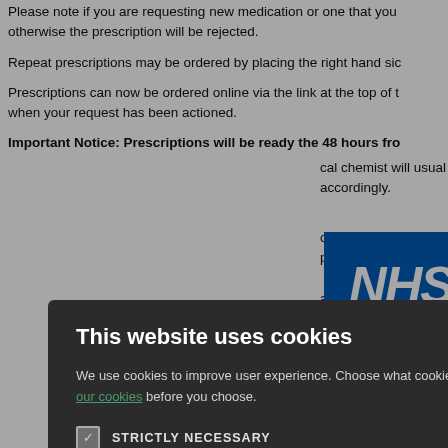Please note if you are requesting new medication or one that you otherwise the prescription will be rejected.
Repeat prescriptions may be ordered by placing the right hand side
Prescriptions can now be ordered online via the link at the top of t when your request has been actioned.
Important Notice: Prescriptions will be ready the 48 hours fro
cal chemist will usually accordingly.
o see a doctor, nurse ppear on your repeat
appointment to avoid
[Figure (logo): NHS logo in blue with white italic bold text]
Copyright 2006 - 2022 My Surgery Website | Data Processing Pol
[Figure (screenshot): Cookie consent modal popup on dark overlay. Title: This website uses cookies. Body: We use cookies to improve user experience. Choose what cookies you allow us to use. You can read more about our cookies before you choose. Checkboxes: STRICTLY NECESSARY (checked), PERFORMANCE, TARGETING, FUNCTIONALITY. Buttons: ACCEPT ALL (green), DECLINE ALL (outline). Close X button top right.]